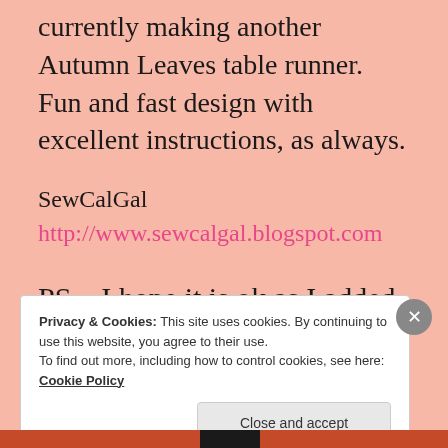love all her designs. As it is Fall, I'm currently making another Autumn Leaves table runner. Fun and fast design with excellent instructions, as always.
SewCalGal
http://www.sewcalgal.blogspot.com
PS – I hope it is ok as I added your
Privacy & Cookies: This site uses cookies. By continuing to use this website, you agree to their use.
To find out more, including how to control cookies, see here:
Cookie Policy
Close and accept